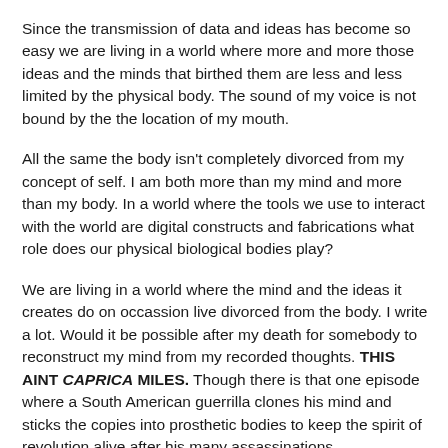Since the transmission of data and ideas has become so easy we are living in a world where more and more those ideas and the minds that birthed them are less and less limited by the physical body. The sound of my voice is not bound by the the location of my mouth.
All the same the body isn't completely divorced from my concept of self. I am both more than my mind and more than my body. In a world where the tools we use to interact with the world are digital constructs and fabrications what role does our physical biological bodies play?
We are living in a world where the mind and the ideas it creates do on occassion live divorced from the body. I write a lot. Would it be possible after my death for somebody to reconstruct my mind from my recorded thoughts. THIS AINT CAPRICA MILES. Though there is that one episode where a South American guerrilla clones his mind and sticks the copies into prosthetic bodies to keep the spirit of revolution alive after his many assassinations.